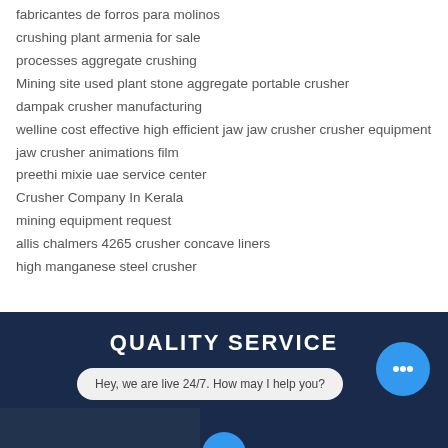fabricantes de forros para molinos
crushing plant armenia for sale
processes aggregate crushing
Mining site used plant stone aggregate portable crusher
dampak crusher manufacturing
welline cost effective high efficient jaw jaw crusher crusher equipment
jaw crusher animations film
preethi mixie uae service center
Crusher Company In Kerala
mining equipment request
allis chalmers 4265 crusher concave liners
high manganese steel crusher
QUALITY SERVICE
Hey, we are live 24/7. How may I help you?